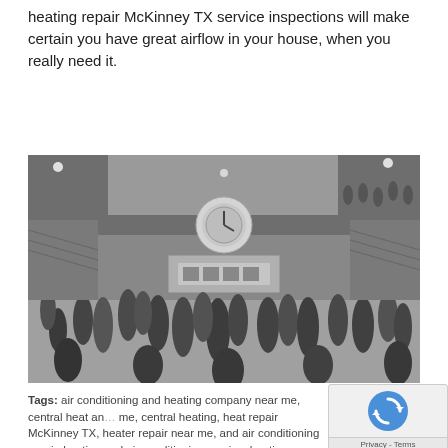heating repair McKinney TX service inspections will make certain you have great airflow in your house, when you really need it.
[Figure (photo): Black and white photograph of a large busy public space (Grand Central Terminal style) with many people walking around. A prominent clock is visible in the center background, and the space has grand arched architecture with multiple levels visible.]
Tags: air conditioning and heating company near me, central heat and air near me, central heating, heat repair McKinney TX, heater repair near me, heating and air conditioning repair, heating and air conditioning service, heating near me, heating and air repair near me, heating and cooling service, heating